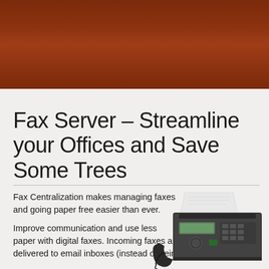[Figure (illustration): Dark brown/rust gradient header banner at the top of the slide]
Fax Server – Streamline your Offices and Save Some Trees
Fax Centralization makes managing faxes and going paper free easier than ever.
Improve communication and use less paper with digital faxes. Incoming faxes are delivered to email inboxes (instead of being
[Figure (photo): Photo of a black fax machine with a white paper sheet coming out of the top, and a handset/receiver to the left side]